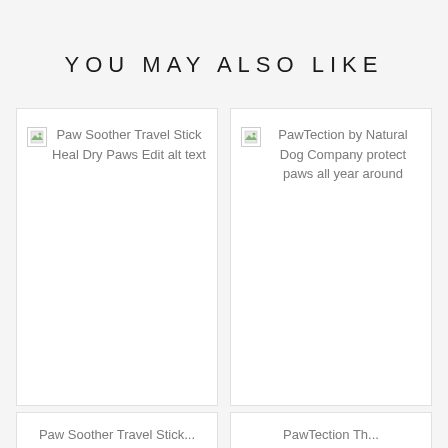YOU MAY ALSO LIKE
[Figure (other): Broken image placeholder with alt text: Paw Soother Travel Stick Heal Dry Paws Edit alt text]
[Figure (other): Broken image placeholder with alt text: PawTection by Natural Dog Company protect paws all year around]
Paw Soother Travel Stick...
PawTection Th...